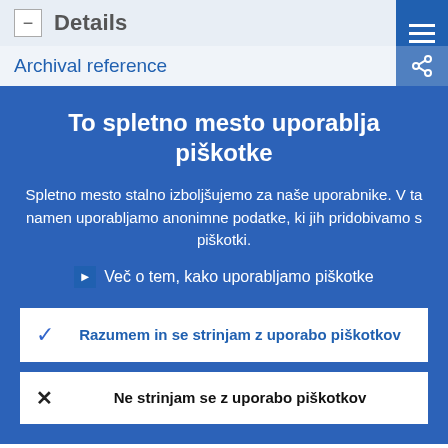Details
Archival reference
To spletno mesto uporablja piškotke
Spletno mesto stalno izboljšujemo za naše uporabnike. V ta namen uporabljamo anonimne podatke, ki jih pridobivamo s piškotki.
Več o tem, kako uporabljamo piškotke
Razumem in se strinjam z uporabo piškotkov
Ne strinjam se z uporabo piškotkov